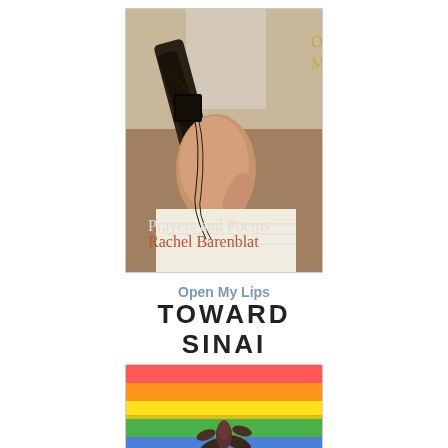[Figure (photo): Book cover of 'Open My Lips' by Rachel Barenblat. Shows a photograph of a hand wrapped in tefillin (Jewish prayer straps) touching a page. Title 'Open My Lips' appears in gold italic text at top right. Subtitle 'Prayers and Poems' and author name 'Rachel Barenblat' appear at bottom left.]
Open My Lips
[Figure (photo): Partial book cover of 'Toward Sinai'. Title appears in large bold black capital letters 'TOWARD SINAI' above a colorful photograph showing rainbow-colored background with a flower/plant in the foreground.]